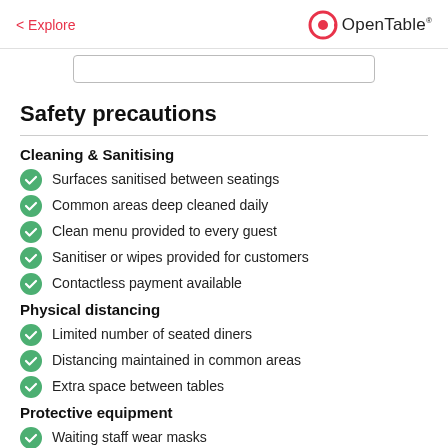< Explore  OpenTable
Safety precautions
Cleaning & Sanitising
Surfaces sanitised between seatings
Common areas deep cleaned daily
Clean menu provided to every guest
Sanitiser or wipes provided for customers
Contactless payment available
Physical distancing
Limited number of seated diners
Distancing maintained in common areas
Extra space between tables
Protective equipment
Waiting staff wear masks